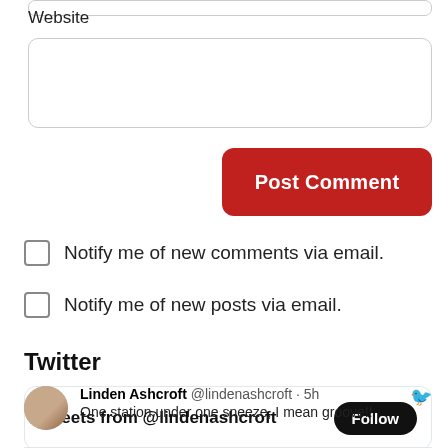Website
Post Comment
Notify me of new comments via email.
Notify me of new posts via email.
Twitter
Tweets from @lindenashcroft
Follow
Linden Ashcroft @lindenashcroft · 5h
One station under one sneeze, I mean groove!!